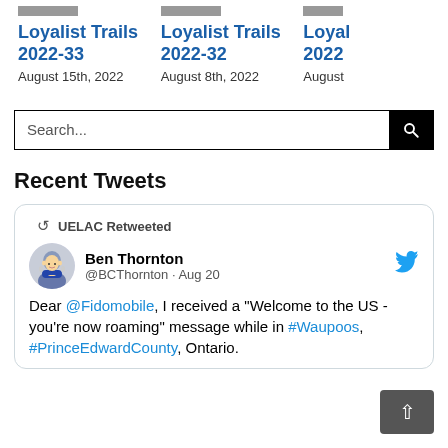Loyalist Trails 2022-33
August 15th, 2022
Loyalist Trails 2022-32
August 8th, 2022
Loyal 2022
August
Search...
Recent Tweets
UELAC Retweeted
Ben Thornton @BCThornton · Aug 20
Dear @Fidomobile, I received a "Welcome to the US - you're now roaming" message while in #Waupoos, #PrinceEdwardCounty, Ontario.